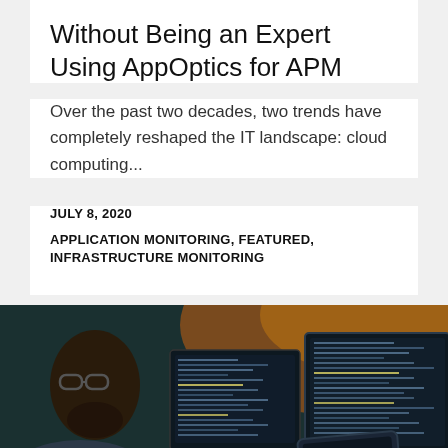Without Being an Expert Using AppOptics for APM
Over the past two decades, two trends have completely reshaped the IT landscape: cloud computing...
JULY 8, 2020
APPLICATION MONITORING, FEATURED, INFRASTRUCTURE MONITORING
[Figure (photo): Person with glasses sitting at a desk working with multiple computer monitors showing code/IDE, holding a tablet, viewed from behind/side. Warm orange lighting in background.]